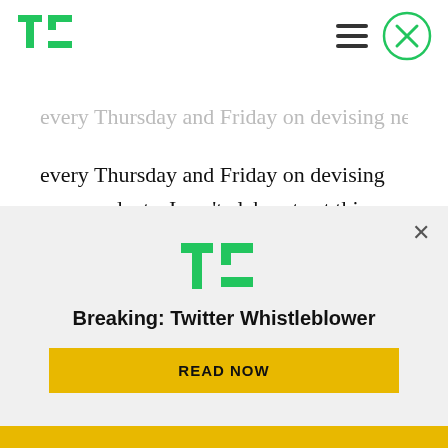TechCrunch logo, hamburger menu, close button
every Thursday and Friday on devising new products. I can't elaborate at this stage on what we are working on but, when launched, these innovations will prove something altogether different from what has gone before."
In other words, expect new and discrete apps from Football Addicts — apps that can be marketed to
[Figure (logo): TechCrunch TC logo in green]
Breaking: Twitter Whistleblower
READ NOW